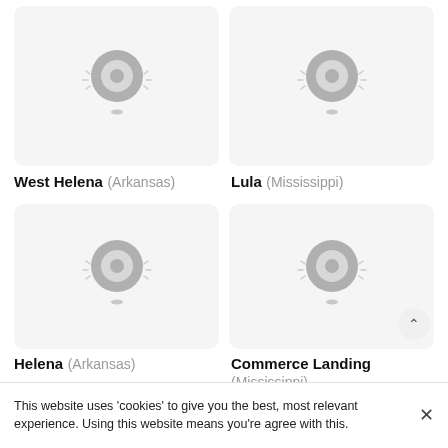[Figure (illustration): Location pin icon placeholder for West Helena, Arkansas]
[Figure (illustration): Location pin icon placeholder for Lula, Mississippi]
West Helena (Arkansas)
Lula (Mississippi)
[Figure (illustration): Location pin icon placeholder for Helena, Arkansas]
[Figure (illustration): Location pin icon placeholder for Commerce Landing, Mississippi]
Helena (Arkansas)
Commerce Landing (Mississippi)
This website uses 'cookies' to give you the best, most relevant experience. Using this website means you're agree with this.